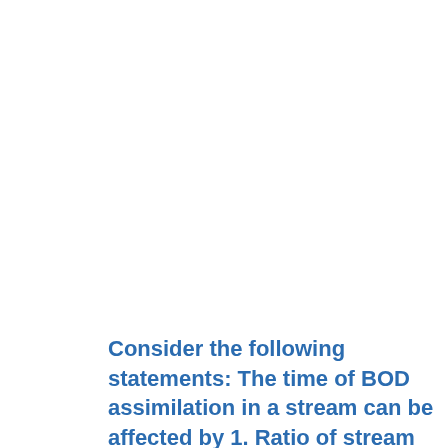Consider the following statements: The time of BOD assimilation in a stream can be affected by 1. Ratio of stream depth to flow width. 2. Stream BOD value 3. BOD rate constant. Which of these statements are